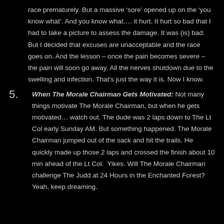race prematurely. But a massive ‘sore’ opened up on the ‘you know what’. And you know what…. it hurt. It hurt so bad that I had to take a picture to assess the damage. It was (is) bad. But I decided that excuses are unacceptable and the race goes on. And the lesson – once the pain becomes severe – the pain will soon go away. All the nerves shutdown due to the swelling and infection. That’s just the way it is. Now I know.
5. When The Morale Chairman Gets Motivated: Not many things motivate The Morale Chairman, but when he gets motivated… watch out. The dude was 2 laps down to The Lt Col early Sunday AM. But something happened. The Morale Chairman jumped out of the sack and hit the trails. He quickly made up those 2 laps and crossed the finish about 10 min ahead of the Lt Col.  Yikes. Will The Morale Chairman challenge The Judd at 24 Hours in the Enchanted Forest? Yeah, keep dreaming.